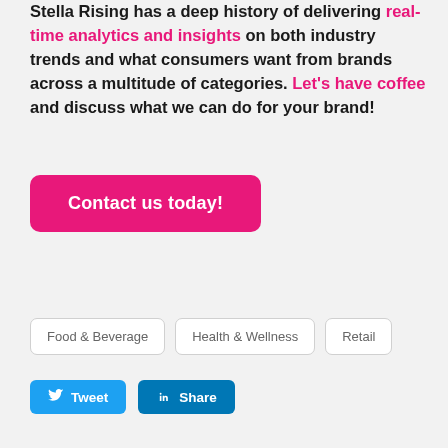Stella Rising has a deep history of delivering real-time analytics and insights on both industry trends and what consumers want from brands across a multitude of categories. Let's have coffee and discuss what we can do for your brand!
Contact us today!
Food & Beverage | Health & Wellness | Retail
Tweet | Share